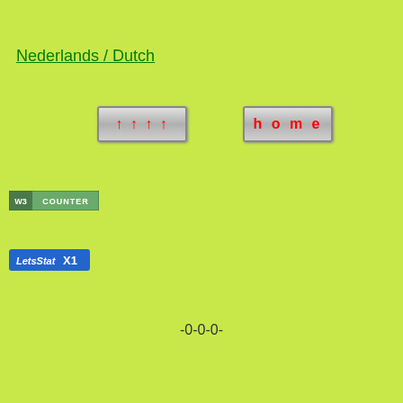Nederlands / Dutch
[Figure (illustration): Button with upward arrows (↑↑↑↑) in red on grey gradient background]
[Figure (illustration): Button with 'home' text in red on grey gradient background]
[Figure (illustration): W3 Counter badge - green and grey rectangular badge]
[Figure (illustration): LetsStat X1 badge - blue rectangular badge with white text]
-0-0-0-